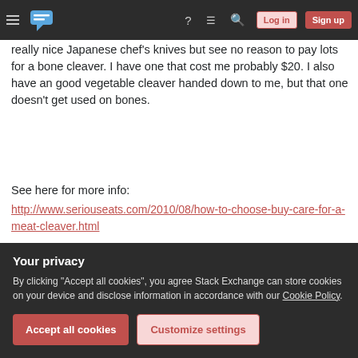Stack Exchange navigation bar with hamburger, logo, help, chat, search, Log in, Sign up
really nice Japanese chef's knives but see no reason to pay lots for a bone cleaver. I have one that cost me probably $20. I also have an good vegetable cleaver handed down to me, but that one doesn't get used on bones.
See here for more info:
http://www.seriouseats.com/2010/08/how-to-choose-buy-care-for-a-meat-cleaver.html
Share
edited Sep 19, 2014 at 2:03
Improve this answer
Your privacy
By clicking "Accept all cookies", you agree Stack Exchange can store cookies on your device and disclose information in accordance with our Cookie Policy.
Accept all cookies
Customize settings